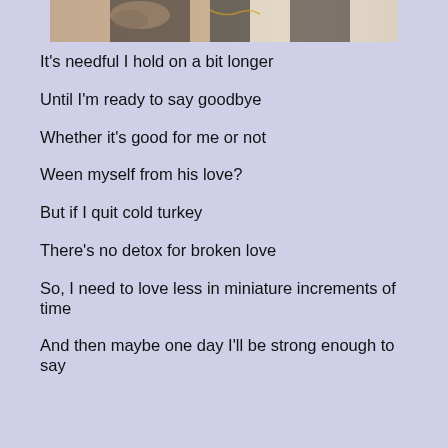[Figure (photo): Cropped bottom portion of a photo showing two people, one with a tattoo and dark clothing, another in a white top with dark hair]
It's needful I hold on a bit longer
Until I'm ready to say goodbye
Whether it's good for me or not
Ween myself from his love?
But if I quit cold turkey
There's no detox for broken love
So, I need to love less in miniature increments of time
And then maybe one day I'll be strong enough to say